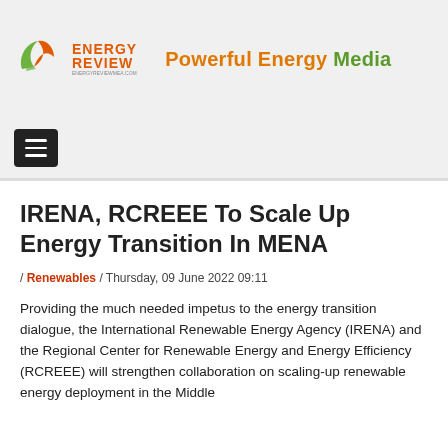[Figure (logo): Energy Review logo with leaf/arrow icon and 'Powerful Energy Media' tagline]
[Figure (other): Hamburger menu navigation button (three horizontal lines on dark background)]
IRENA, RCREEE To Scale Up Energy Transition In MENA
/ Renewables / Thursday, 09 June 2022 09:11
Providing the much needed impetus to the energy transition dialogue, the International Renewable Energy Agency (IRENA) and the Regional Center for Renewable Energy and Energy Efficiency (RCREEE) will strengthen collaboration on scaling-up renewable energy deployment in the Middle